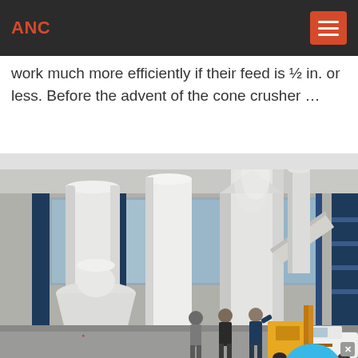ANC
work much more efficiently if their feed is ½ in. or less. Before the advent of the cone crusher …
[Figure (photo): Industrial facility showing large white cylindrical cone crushers/mills and silos inside a factory building, with three workers visible in the foreground, and construction equipment including a yellow forklift and white vehicle on the right side.]